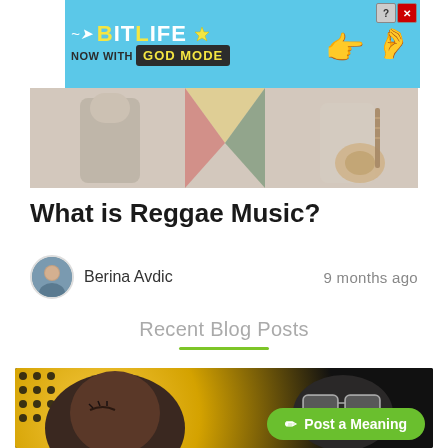[Figure (screenshot): BitLife advertisement banner with blue background, 'NOW WITH GOD MODE' text, sperm logo, hand emoji graphics, and close/help buttons]
[Figure (photo): Hero image showing musicians with guitars, muted warm tones]
What is Reggae Music?
Berina Avdic    9 months ago
Recent Blog Posts
[Figure (photo): Blog post thumbnail showing a person with sunglasses and a 'Post a Meaning' green button overlay]